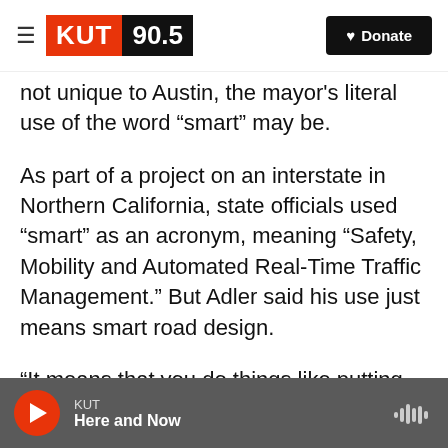KUT 90.5 | Donate
not unique to Austin, the mayor's literal use of the word “smart” may be.
As part of a project on an interstate in Northern California, state officials used “smart” as an acronym, meaning “Safety, Mobility and Automated Real-Time Traffic Management.” But Adler said his use just means smart road design.
“It means that you do things like putting right and left turn lanes at the intersection so that people aren’t caught behind cars that are turning,” he said. “You put medians down the street so that cars are
KUT | Here and Now